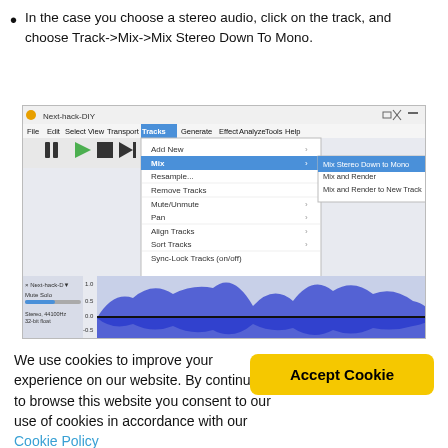In the case you choose a stereo audio, click on the track, and choose Track->Mix->Mix Stereo Down To Mono.
[Figure (screenshot): Audacity (Next-hack-DIY) application screenshot showing the Tracks menu open, with Mix submenu expanded, highlighting 'Mix Stereo Down to Mono' option. Other menu items visible include Add New, Resample, Remove Tracks, Mute/Unmute, Pan, Align Tracks, Sort Tracks, Sync-Lock Tracks. The main window shows audio waveforms in blue.]
We use cookies to improve your experience on our website. By continuing to browse this website you consent to our use of cookies in accordance with our Cookie Policy